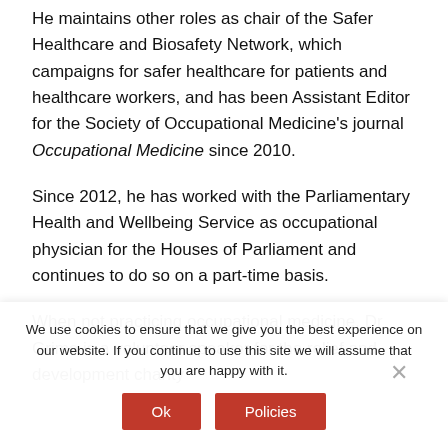He maintains other roles as chair of the Safer Healthcare and Biosafety Network, which campaigns for safer healthcare for patients and healthcare workers, and has been Assistant Editor for the Society of Occupational Medicine's journal Occupational Medicine since 2010.
Since 2012, he has worked with the Parliamentary Health and Wellbeing Service as occupational physician for the Houses of Parliament and continues to do so on a part-time basis.
When not practicing occupational medicine, Dr Grime is a volunteer speaker for the relief and development charity
We use cookies to ensure that we give you the best experience on our website. If you continue to use this site we will assume that you are happy with it.